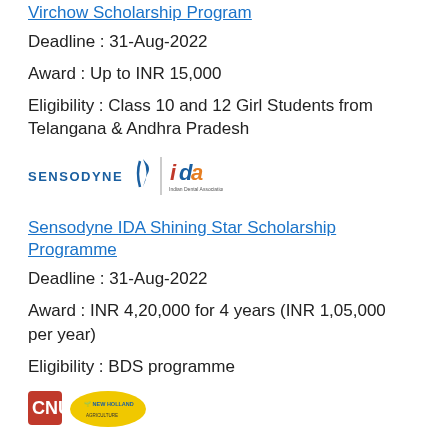Virchow Scholarship Program
Deadline : 31-Aug-2022
Award : Up to INR 15,000
Eligibility : Class 10 and 12 Girl Students from Telangana & Andhra Pradesh
[Figure (logo): Sensodyne and IDA (Indian Dental Association) logos side by side]
Sensodyne IDA Shining Star Scholarship Programme
Deadline : 31-Aug-2022
Award : INR 4,20,000 for 4 years (INR 1,05,000 per year)
Eligibility : BDS programme
[Figure (logo): CNU and New Holland logos side by side]